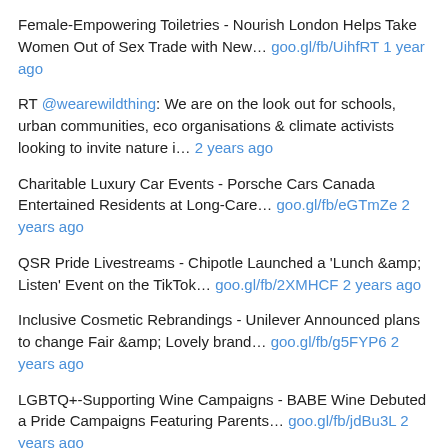Female-Empowering Toiletries - Nourish London Helps Take Women Out of Sex Trade with New… goo.gl/fb/UihfRT 1 year ago
RT @wearewildthing: We are on the look out for schools, urban communities, eco organisations & climate activists looking to invite nature i… 2 years ago
Charitable Luxury Car Events - Porsche Cars Canada Entertained Residents at Long-Care… goo.gl/fb/eGTmZe 2 years ago
QSR Pride Livestreams - Chipotle Launched a 'Lunch &amp; Listen' Event on the TikTok… goo.gl/fb/2XMHCF 2 years ago
Inclusive Cosmetic Rebrandings - Unilever Announced plans to change Fair &amp; Lovely brand… goo.gl/fb/g5FYP6 2 years ago
LGBTQ+-Supporting Wine Campaigns - BABE Wine Debuted a Pride Campaigns Featuring Parents… goo.gl/fb/jdBu3L 2 years ago
Gamified In-App Loyalty Programs - Perk Hero Launched as a Contact-Free Payment App for… goo.gl/fb/chtSJq 2 years ago